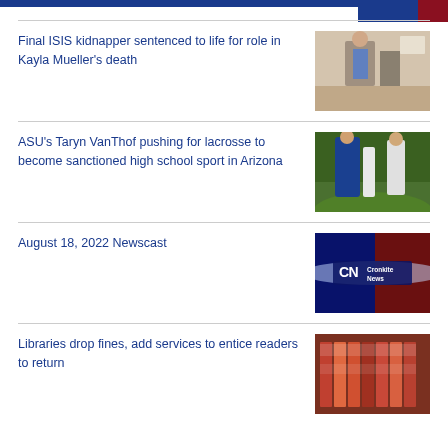Final ISIS kidnapper sentenced to life for role in Kayla Mueller’s death
[Figure (photo): People standing outside on a brick walkway near a vehicle]
ASU’s Taryn VanThof pushing for lacrosse to become sanctioned high school sport in Arizona
[Figure (photo): Female lacrosse player in blue uniform running with a lacrosse stick]
August 18, 2022 Newscast
[Figure (logo): Cronkite News logo on blue and red background with light streak]
Libraries drop fines, add services to entice readers to return
[Figure (photo): Row of colorful books on a shelf]